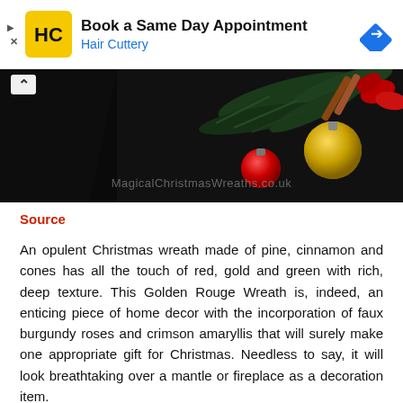[Figure (other): Hair Cuttery advertisement banner with logo, 'Book a Same Day Appointment' text, 'Hair Cuttery' subtitle in blue, and a blue diamond navigation arrow icon on the right.]
[Figure (photo): Dark Christmas wreath photo showing gold and red ornament balls, pine branches, cinnamon sticks, and red flowers against a black background. Watermark reads 'MagicalChristmasWreaths.co.uk'.]
Source
An opulent Christmas wreath made of pine, cinnamon and cones has all the touch of red, gold and green with rich, deep texture. This Golden Rouge Wreath is, indeed, an enticing piece of home decor with the incorporation of faux burgundy roses and crimson amaryllis that will surely make one appropriate gift for Christmas. Needless to say, it will look breathtaking over a mantle or fireplace as a decoration item.